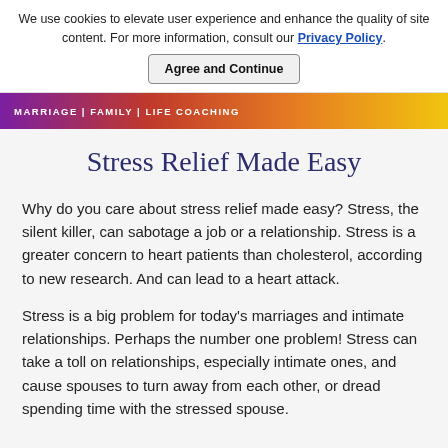We use cookies to elevate user experience and enhance the quality of site content. For more information, consult our Privacy Policy.
Agree and Continue
MARRIAGE | FAMILY | LIFE COACHING
Stress Relief Made Easy
Why do you care about stress relief made easy? Stress, the silent killer, can sabotage a job or a relationship. Stress is a greater concern to heart patients than cholesterol, according to new research. And can lead to a heart attack.
Stress is a big problem for today's marriages and intimate relationships. Perhaps the number one problem! Stress can take a toll on relationships, especially intimate ones, and cause spouses to turn away from each other, or dread spending time with the stressed spouse.